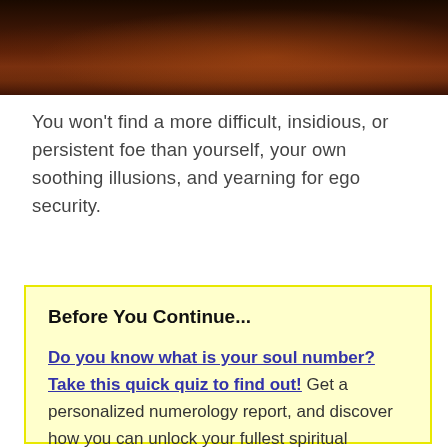[Figure (photo): Dark atmospheric photo showing what appears to be a wooden surface or box in dim reddish-brown lighting]
You won't find a more difficult, insidious, or persistent foe than yourself, your own soothing illusions, and yearning for ego security.
Before You Continue...

Do you know what is your soul number? Take this quick quiz to find out! Get a personalized numerology report, and discover how you can unlock your fullest spiritual potential. Start the quiz now!